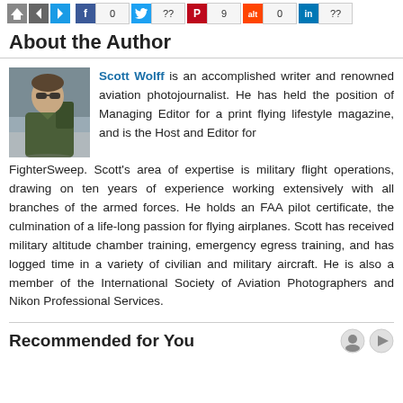[Figure (infographic): Social sharing bar with navigation icons (home, back, forward) and Facebook (0), Twitter (??), Pinterest (9), Reddit (0), LinkedIn (??) share buttons with counts]
About the Author
[Figure (photo): Photo of Scott Wolff, a man in a green flight suit with sunglasses carrying equipment]
Scott Wolff is an accomplished writer and renowned aviation photojournalist. He has held the position of Managing Editor for a print flying lifestyle magazine, and is the Host and Editor for FighterSweep. Scott's area of expertise is military flight operations, drawing on ten years of experience working extensively with all branches of the armed forces. He holds an FAA pilot certificate, the culmination of a life-long passion for flying airplanes. Scott has received military altitude chamber training, emergency egress training, and has logged time in a variety of civilian and military aircraft. He is also a member of the International Society of Aviation Photographers and Nikon Professional Services.
Recommended for You